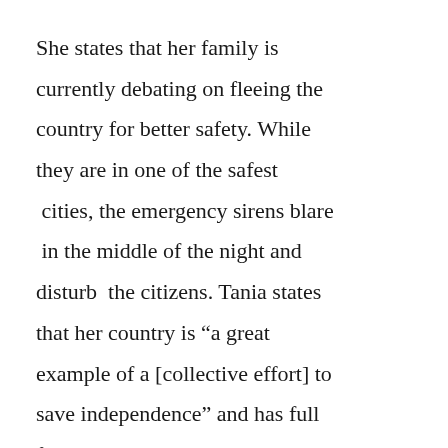She states that her family is currently debating on fleeing the country for better safety. While they are in one of the safest  cities, the emergency sirens blare  in the middle of the night and disturb  the citizens. Tania states that her country is “a great example of a [collective effort] to save independence” and has full faith in the citizens within Ukraine and its society. The conflict officially began on the 24February 2022 when Russia invaded Ukraine. Though it made headlines all around the globe, the conflict had been going on for eight years prior to the vast news coverage that came flooding in later, the Russian state took Ukraine’s scholars into